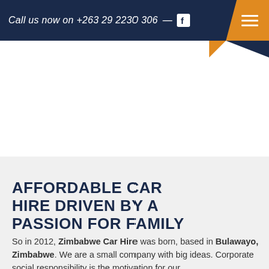Call us now on +263 29 2230 306 —
AFFORDABLE CAR HIRE DRIVEN BY A PASSION FOR FAMILY
So in 2012, Zimbabwe Car Hire was born, based in Bulawayo, Zimbabwe. We are a small company with big ideas. Corporate social responsibility is the motivation for our